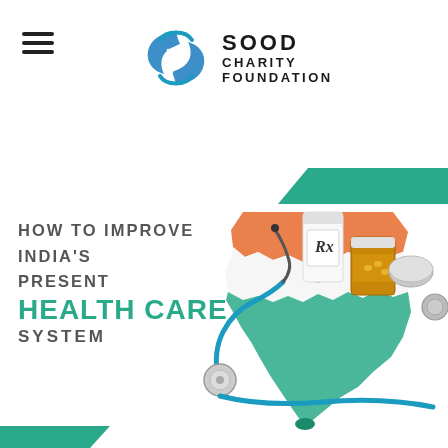[Figure (logo): Sood Charity Foundation logo with blue circular hands icon and text SOOD CHARITY FOUNDATION]
[Figure (illustration): India map outline colored with Indian flag colors (orange, white, green), with medical items on top: stethoscope, Rx prescription bottle, pill bottle, and a stethoscope disc]
HOW TO IMPROVE INDIA'S PRESENT HEALTH CARE SYSTEM